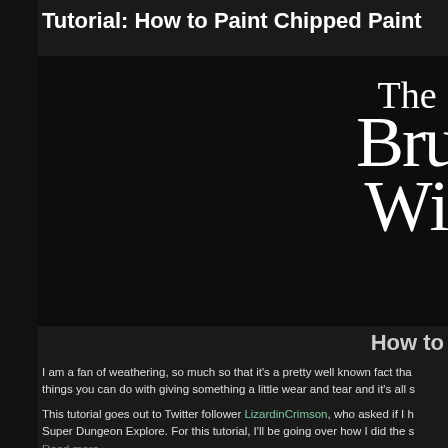Tutorial: How to Paint Chipped Paint
[Figure (logo): Partially visible logo with stylized text reading 'The Bru Wi' (The Brush Wizard) in white serif font on dark background]
How to
I am a fan of weathering, so much so that it's a pretty well known fact tha things you can do with giving something a little wear and tear and it's all s
This tutorial goes out to Twitter follower LizardinCrimson, who asked if I h Super Dungeon Explore. For this tutorial, I'll be going over how I did the s
Read more »